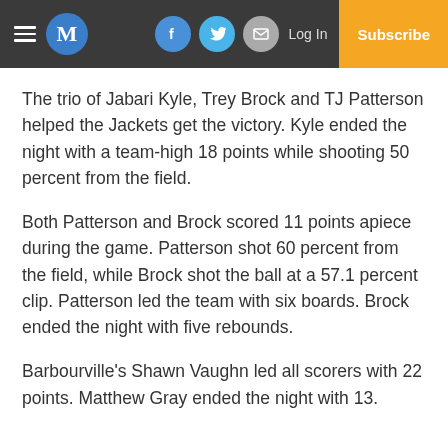M | Log In | Subscribe
The trio of Jabari Kyle, Trey Brock and TJ Patterson helped the Jackets get the victory. Kyle ended the night with a team-high 18 points while shooting 50 percent from the field.
Both Patterson and Brock scored 11 points apiece during the game. Patterson shot 60 percent from the field, while Brock shot the ball at a 57.1 percent clip. Patterson led the team with six boards. Brock ended the night with five rebounds.
Barbourville's Shawn Vaughn led all scorers with 22 points. Matthew Gray ended the night with 13.